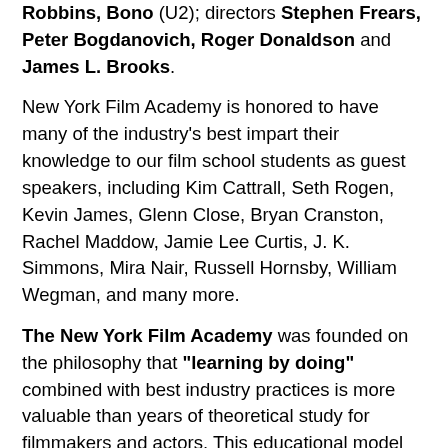Robbins, Bono (U2); directors Stephen Frears, Peter Bogdanovich, Roger Donaldson and James L. Brooks.
New York Film Academy is honored to have many of the industry's best impart their knowledge to our film school students as guest speakers, including Kim Cattrall, Seth Rogen, Kevin James, Glenn Close, Bryan Cranston, Rachel Maddow, Jamie Lee Curtis, J. K. Simmons, Mira Nair, Russell Hornsby, William Wegman, and many more.
The New York Film Academy was founded on the philosophy that "learning by doing" combined with best industry practices is more valuable than years of theoretical study for filmmakers and actors. This educational model allows students to achieve more in less time than at all other film or acting schools in the world.
Degrees
The New York Film Academy offers camps, short-term